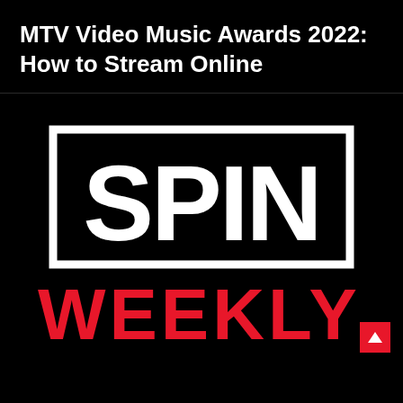MTV Video Music Awards 2022: How to Stream Online
[Figure (logo): SPIN WEEKLY logo — black background with white bordered rectangle containing 'SPIN' in large white bold text, and 'WEEKLY' in large red bold text below, with a red scroll-to-top button in the bottom right corner]